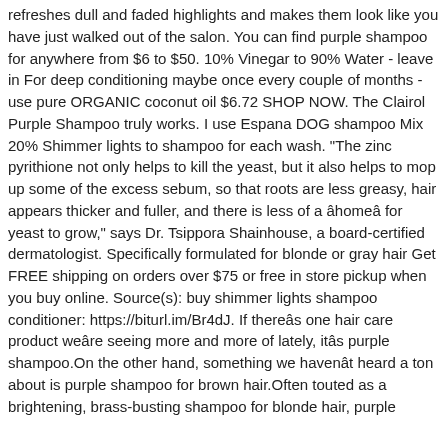refreshes dull and faded highlights and makes them look like you have just walked out of the salon. You can find purple shampoo for anywhere from $6 to $50. 10% Vinegar to 90% Water - leave in For deep conditioning maybe once every couple of months - use pure ORGANIC coconut oil $6.72 SHOP NOW. The Clairol Purple Shampoo truly works. I use Espana DOG shampoo Mix 20% Shimmer lights to shampoo for each wash. "The zinc pyrithione not only helps to kill the yeast, but it also helps to mop up some of the excess sebum, so that roots are less greasy, hair appears thicker and fuller, and there is less of a âhomeâ for yeast to grow," says Dr. Tsippora Shainhouse, a board-certified dermatologist. Specifically formulated for blonde or gray hair Get FREE shipping on orders over $75 or free in store pickup when you buy online. Source(s): buy shimmer lights shampoo conditioner: https://biturl.im/Br4dJ. If thereâs one hair care product weâre seeing more and more of lately, itâs purple shampoo.On the other hand, something we havenât heard a ton about is purple shampoo for brown hair.Often touted as a brightening, brass-busting shampoo for blonde hair, purple